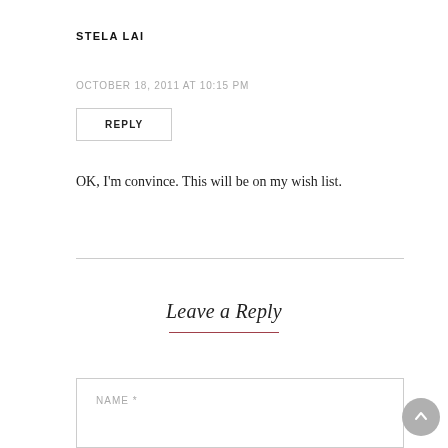STELA LAI
OCTOBER 18, 2011 AT 10:15 PM
REPLY
OK, I'm convince. This will be on my wish list.
Leave a Reply
NAME *